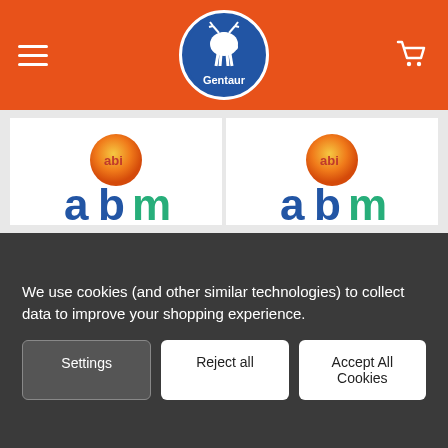[Figure (logo): Gentaur logo in blue circle with white deer silhouette and 'Gentaur' text, on orange navigation bar with hamburger menu and cart icon]
[Figure (logo): ABM logo - orange globe icon above blue 'abm' text in green-blue gradient (left product card)]
[Figure (logo): ABM logo - orange globe icon above blue 'abm' text in green-blue gradient (right product card)]
CHOOSE OPTIONS
CHOOSE OPTIONS
Agarose II, Low Gelling Temperature | G1988
Bromophenol Blue | G114
We use cookies (and other similar technologies) to collect data to improve your shopping experience.
Settings
Reject all
Accept All Cookies